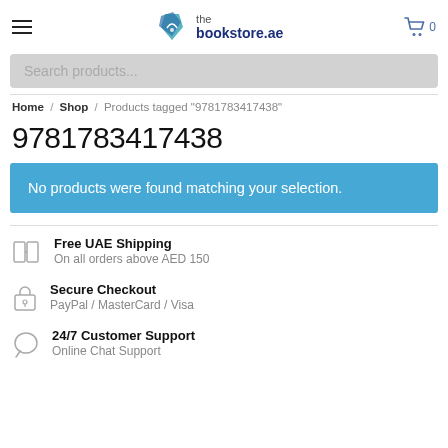thebookstore.ae — navigation header with hamburger menu, logo, and cart icon (0 items)
Search products...
Home / Shop / Products tagged "9781783417438"
9781783417438
No products were found matching your selection.
Free UAE Shipping
On all orders above AED 150
Secure Checkout
PayPal / MasterCard / Visa
24/7 Customer Support
Online Chat Support